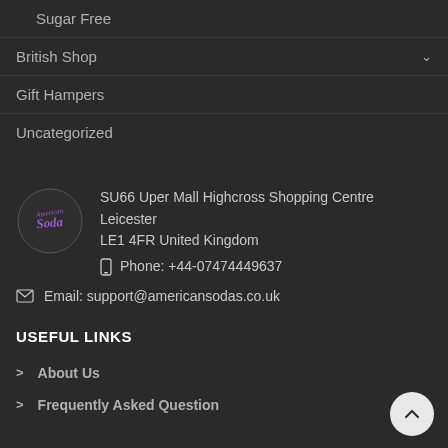Sugar Free
British Shop
Gift Hampers
Uncategorized
SU66 Uper Mall Highcross Shopping Centre Leicester LE1 4FR United Kingdom
Phone: +44-07474449637
Email: support@americansodas.co.uk
USEFUL LINKS
About Us
Frequently Asked Question